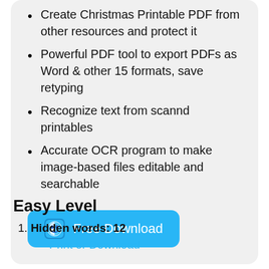Create Christmas Printable PDF from other resources and protect it
Powerful PDF tool to export PDFs as Word & other 15 formats, save retyping
Recognize text from scannd printables
Accurate OCR program to make image-based files editable and searchable
[Figure (other): Blue rounded button with Finder icon and text 'Free Download']
Easy Level
Hidden words: 12
Print or Download